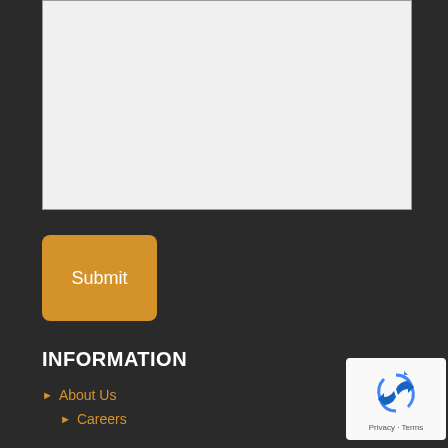[Figure (screenshot): Large text area input field with light gray background and dotted resize handle in bottom-right corner]
Submit
INFORMATION
About Us
Careers
[Figure (logo): Google reCAPTCHA badge with recycling arrow icon and Privacy - Terms text]